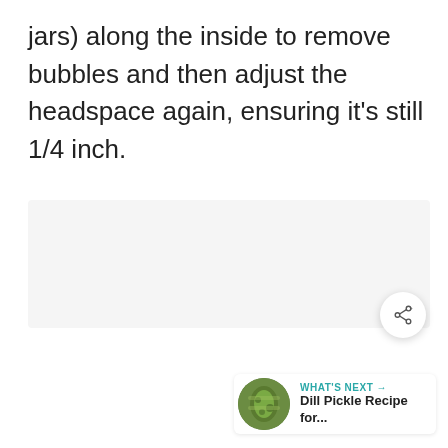jars) along the inside to remove bubbles and then adjust the headspace again, ensuring it's still 1/4 inch.
[Figure (other): Gray placeholder ad/loading area with three gray dots indicating loading content]
[Figure (other): Share button (circular white button with share icon) and 'What's Next' card showing Dill Pickle Recipe thumbnail with teal label arrow and bold title text]